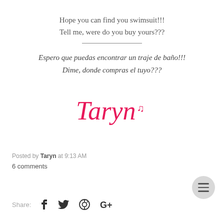Hope you can find you swimsuit!!!
Tell me, were do you buy yours???
Espero que puedas encontrar un traje de baño!!!
Dime, donde compras el tuyo???
[Figure (illustration): Handwritten-style pink cursive signature reading 'Taryn' with a musical note symbol]
Posted by Taryn at 9:13 AM
6 comments
Share: f  Twitter  Pinterest  G+